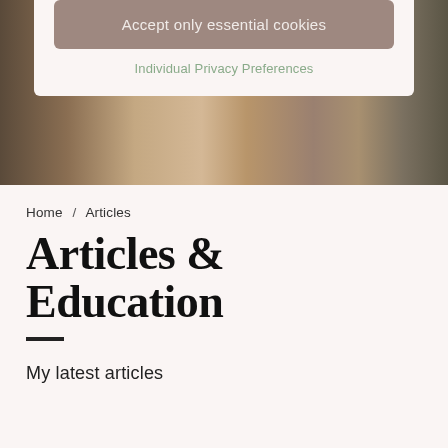[Figure (photo): Fashion photo of a woman with dark hair wearing a camel coat, touching her neck, with an urban street background]
Accept only essential cookies
Individual Privacy Preferences
Home / Articles
Articles & Education
My latest articles